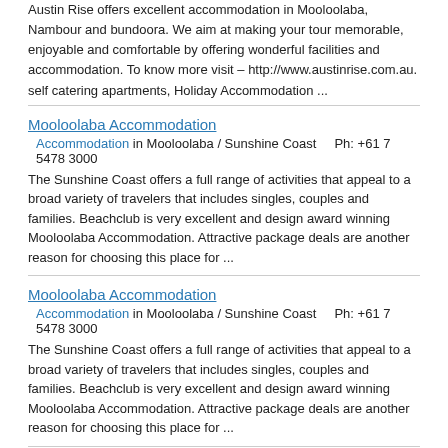Austin Rise offers excellent accommodation in Mooloolaba, Nambour and bundoora. We aim at making your tour memorable, enjoyable and comfortable by offering wonderful facilities and accommodation. To know more visit – http://www.austinrise.com.au. self catering apartments, Holiday Accommodation ...
Mooloolaba Accommodation
Accommodation in Mooloolaba / Sunshine Coast    Ph: +61 7 5478 3000
The Sunshine Coast offers a full range of activities that appeal to a broad variety of travelers that includes singles, couples and families. Beachclub is very excellent and design award winning Mooloolaba Accommodation. Attractive package deals are another reason for choosing this place for ...
Mooloolaba Accommodation
Accommodation in Mooloolaba / Sunshine Coast    Ph: +61 7 5478 3000
The Sunshine Coast offers a full range of activities that appeal to a broad variety of travelers that includes singles, couples and families. Beachclub is very excellent and design award winning Mooloolaba Accommodation. Attractive package deals are another reason for choosing this place for ...
Accommodation Brisbane
Accommodation in QLD
to find the perfect place to stay so you have a better holiday that you will never forget. With easy online bookings find your hotel today! self catering apartments, Holiday Accommodation, Hotels, Vacation Accommodation